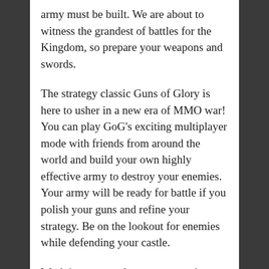army must be built. We are about to witness the grandest of battles for the Kingdom, so prepare your weapons and swords.
The strategy classic Guns of Glory is here to usher in a new era of MMO war! You can play GoG's exciting multiplayer mode with friends from around the world and build your own highly effective army to destroy your enemies. Your army will be ready for battle if you polish your guns and refine your strategy. Be on the lookout for enemies while defending your castle.
Work in teams and manage your time well. Develop a powerful Estate and Zeppelin by managing resources effectively. The castle is guarded by only one guardian. Defend it to the